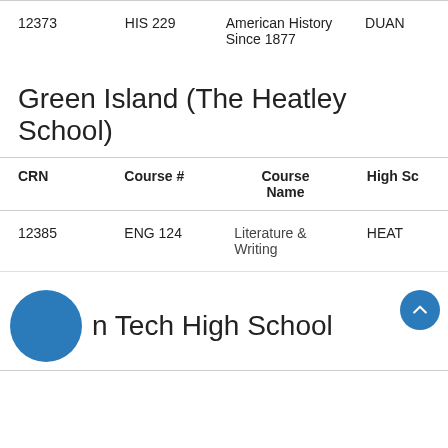| CRN | Course # | Course Name | High Sc |
| --- | --- | --- | --- |
| 12373 | HIS 229 | American History Since 1877 | DUAN |
Green Island (The Heatley School)
| CRN | Course # | Course Name | High Sc |
| --- | --- | --- | --- |
| 12385 | ENG 124 | Literature & Writing | HEAT |
Green Tech High School